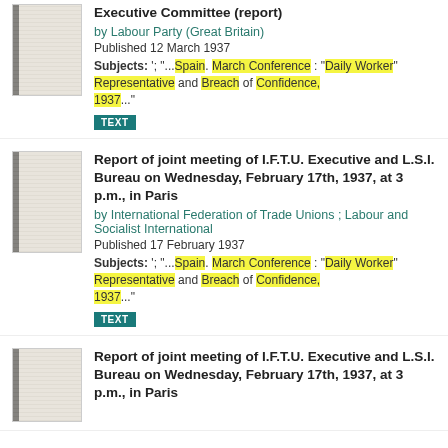Executive Committee (report) by Labour Party (Great Britain) Published 12 March 1937 Subjects: '; "...Spain. March Conference : "Daily Worker" Representative and Breach of Confidence, 1937..."
Report of joint meeting of I.F.T.U. Executive and L.S.I. Bureau on Wednesday, February 17th, 1937, at 3 p.m., in Paris by International Federation of Trade Unions ; Labour and Socialist International Published 17 February 1937 Subjects: '; "...Spain. March Conference : "Daily Worker" Representative and Breach of Confidence, 1937..."
Report of joint meeting of I.F.T.U. Executive and L.S.I. Bureau on Wednesday, February 17th, 1937, at 3 p.m., in Paris